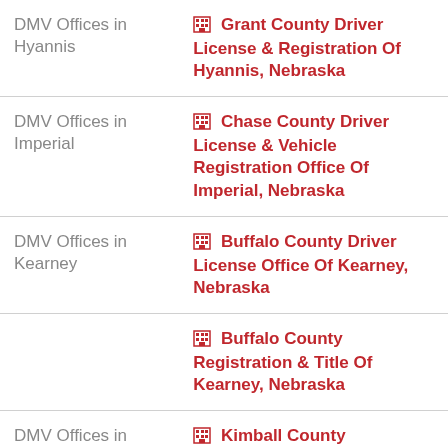| Location | Office |
| --- | --- |
| DMV Offices in Hyannis | Grant County Driver License & Registration Of Hyannis, Nebraska |
| DMV Offices in Imperial | Chase County Driver License & Vehicle Registration Office Of Imperial, Nebraska |
| DMV Offices in Kearney | Buffalo County Driver License Office Of Kearney, Nebraska |
|  | Buffalo County Registration & Title Of Kearney, Nebraska |
| DMV Offices in | Kimball County |